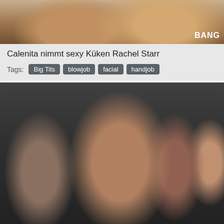[Figure (photo): Partial view of legs on dark seat with BANG watermark]
Calenita nimmt sexy Küken Rachel Starr
Tags: Big Tits blowjob facial handjob
[Figure (photo): Group of four women in a vehicle interior]
Crashing a College Party
Tags: Big Tits lesbian milf hd
[Figure (photo): Partial view of another thumbnail at bottom]